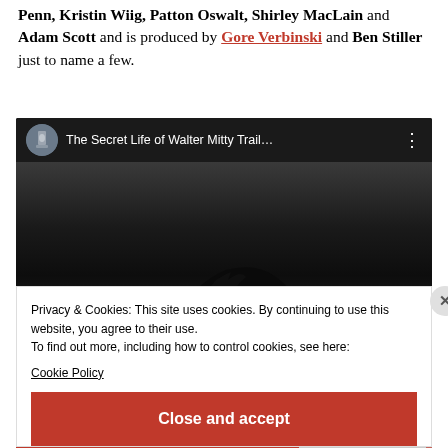Penn, Kristin Wiig, Patton Oswalt, Shirley MacLain and Adam Scott and is produced by Gore Verbinski and Ben Stiller just to name a few.
[Figure (screenshot): Embedded YouTube video player showing 'The Secret Life of Walter Mitty Trail...' with channel icon and dark thumbnail image]
Privacy & Cookies: This site uses cookies. By continuing to use this website, you agree to their use.
To find out more, including how to control cookies, see here:
Cookie Policy

Close and accept